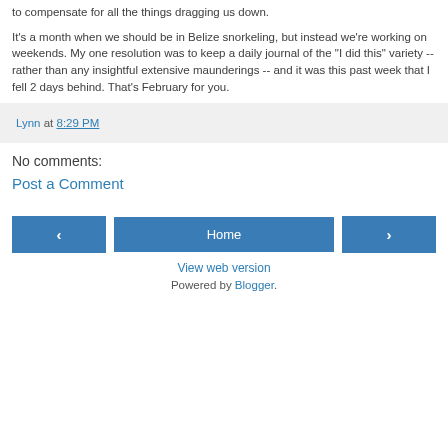to compensate for all the things dragging us down.
It's a month when we should be in Belize snorkeling, but instead we're working on weekends. My one resolution was to keep a daily journal of the "I did this" variety -- rather than any insightful extensive maunderings -- and it was this past week that I fell 2 days behind. That's February for you.
Lynn at 8:29 PM
No comments:
Post a Comment
‹ Home ›
View web version
Powered by Blogger.